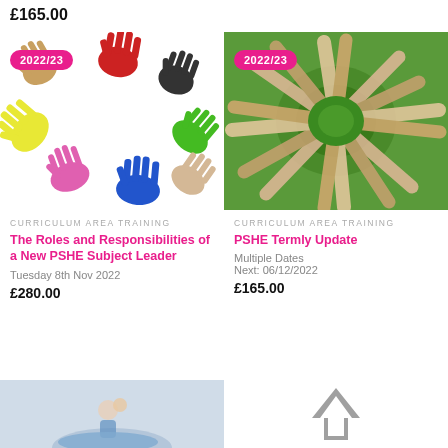£165.00
[Figure (illustration): Colorful handprints arranged in a circle on white background with 2022/23 pink badge]
[Figure (photo): Aerial view of people's hands touching on green grass arranged in a circle with 2022/23 pink badge]
CURRICULUM AREA TRAINING
The Roles and Responsibilities of a New PSHE Subject Leader
Tuesday 8th Nov 2022
£280.00
CURRICULUM AREA TRAINING
PSHE Termly Update
Multiple Dates
Next: 06/12/2022
£165.00
[Figure (photo): Partial view of a toy figurine on a blue surface]
[Figure (illustration): Grey upward arrow icon]